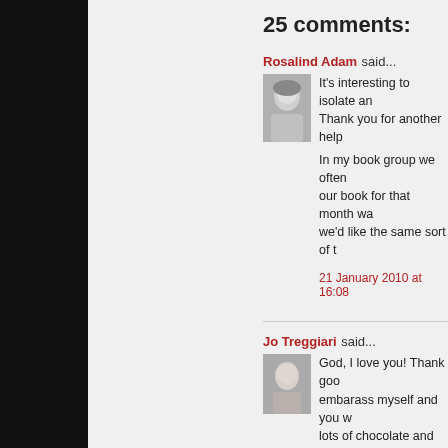25 comments:
Rosalind Adam said...
It's interesting to isolate an... Thank you for another help...
In my book group we often... our book for that month wa... we'd like the same sort of t...
21 January 2010 at 16:08
Jo Treggiari said...
God, I love you! Thank goo... embarass myself and you w... lots of chocolate and wine)... What great timing! I am struggling with the en... it;s just getting it there with... the book has been heading... Not to sound like a hippy, b... plot arc has been clear fro... makes it messy and hard to... approaching it sideways ra... the best way, but in this s...